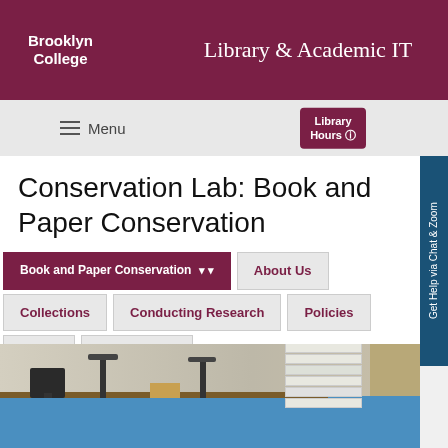Brooklyn College — Library & Academic IT
Conservation Lab: Book and Paper Conservation
Book and Paper Conservation
About Us
Collections
Conducting Research
Policies
Travel
Finding Aids
[Figure (photo): Conservation lab interior showing workbenches with blue surface, mounted equipment/presses, a computer monitor, and stacks of white paper/boards on shelves]